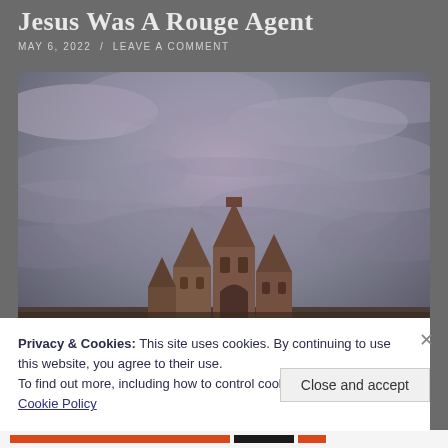Jesus Was A Rouge Agent
MAY 6, 2022 / LEAVE A COMMENT
[Figure (photo): Photograph of gothic stone church ruins or spires against a dramatic cloudy grey sky]
Privacy & Cookies: This site uses cookies. By continuing to use this website, you agree to their use.
To find out more, including how to control cookies, see here:
Cookie Policy
Close and accept